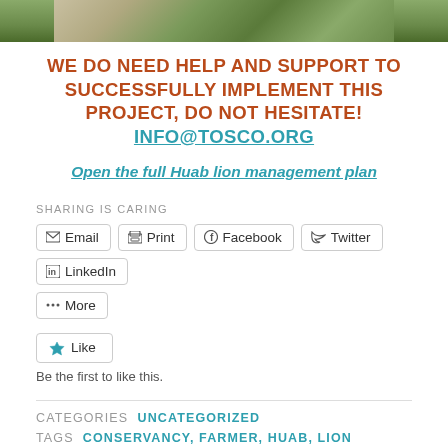[Figure (photo): Partial photo of vegetation/landscape at the top of the page]
WE DO NEED HELP AND SUPPORT TO SUCCESSFULLY IMPLEMENT THIS PROJECT, DO NOT HESITATE! INFO@TOSCO.ORG
Open the full Huab lion management plan
SHARING IS CARING
Email
Print
Facebook
Twitter
LinkedIn
More
Like
Be the first to like this.
CATEGORIES  UNCATEGORIZED
TAGS  CONSERVANCY, FARMER, HUAB, LION